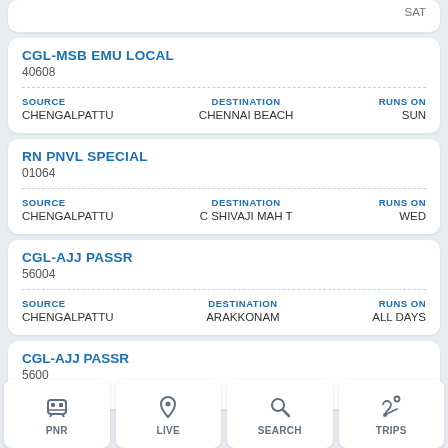SAT
CGL-MSB EMU LOCAL
40608
| SOURCE | DESTINATION | RUNS ON |
| --- | --- | --- |
| CHENGALPATTU | CHENNAI BEACH | SUN |
RN PNVL SPECIAL
01064
| SOURCE | DESTINATION | RUNS ON |
| --- | --- | --- |
| CHENGALPATTU | C SHIVAJI MAH T | WED |
CGL-AJJ PASSR
56004
| SOURCE | DESTINATION | RUNS ON |
| --- | --- | --- |
| CHENGALPATTU | ARAKKONAM | ALL DAYS |
CGL-AJJ PASSR
5600...